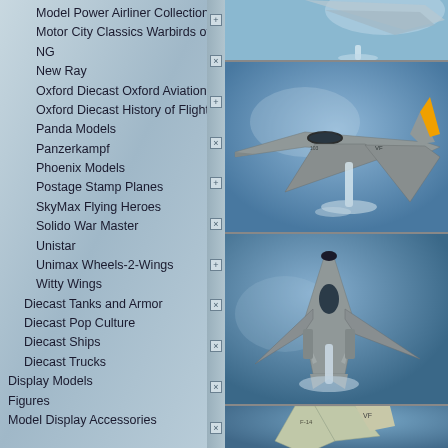Model Power Airliner Collection
Motor City Classics Warbirds of WWII
NG
New Ray
Oxford Diecast Oxford Aviation
Oxford Diecast History of Flight
Panda Models
Panzerkampf
Phoenix Models
Postage Stamp Planes
SkyMax Flying Heroes
Solido War Master
Unistar
Unimax Wheels-2-Wings
Witty Wings
Diecast Tanks and Armor
Diecast Pop Culture
Diecast Ships
Diecast Trucks
Display Models
Figures
Model Display Accessories
[Figure (photo): Top partial photo of a model aircraft on a clear stand against blue background]
[Figure (photo): Model F-14 Tomcat fighter jet on clear stand against blue background, side view]
[Figure (photo): Model F-14 or F-15 fighter jet on clear stand against blue background, top-front view]
[Figure (photo): Partial bottom photo of a model aircraft against blue background]